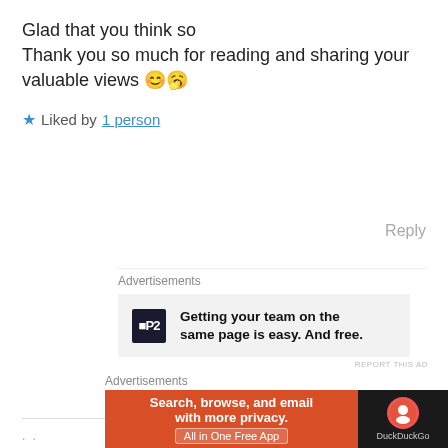Glad that you think so
Thank you so much for reading and sharing your valuable views 😊🥰
★ Liked by 1 person
Reply
Advertisements
[Figure (screenshot): P2 advertisement: Getting your team on the same page is easy. And free.]
REPORT THIS AD
Advertisements
[Figure (screenshot): DuckDuckGo advertisement: Search, browse, and email with more privacy. All in One Free App]